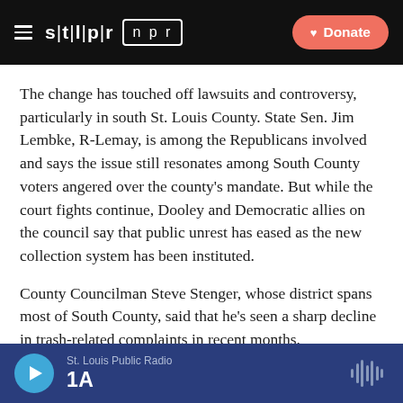STLPR | NPR  — Donate
The change has touched off lawsuits and controversy, particularly in south St. Louis County. State Sen. Jim Lembke, R-Lemay, is among the Republicans involved and says the issue still resonates among South County voters angered over the county's mandate. But while the court fights continue, Dooley and Democratic allies on the council say that public unrest has eased as the new collection system has been instituted.
County Councilman Steve Stenger, whose district spans most of South County, said that he's seen a sharp decline in trash-related complaints in recent months.
St. Louis Public Radio  1A